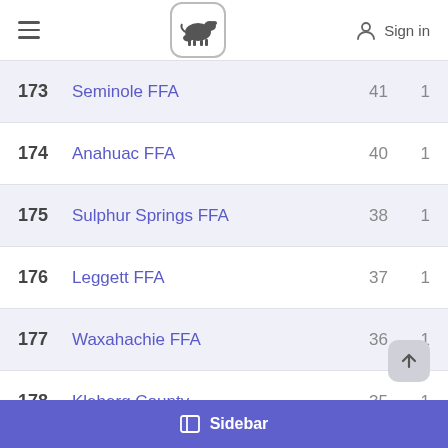Navigation header with hamburger menu, livestock logo, and Sign in
| Rank | Name | Points | Entries |
| --- | --- | --- | --- |
| 173 | Seminole FFA | 41 | 1 |
| 174 | Anahuac FFA | 40 | 1 |
| 175 | Sulphur Springs FFA | 38 | 1 |
| 176 | Leggett FFA | 37 | 1 |
| 177 | Waxahachie FFA | 36 | 1 |
| 178 | Kleberg County | 35 | 1 |
| 179 | Abilene High FFA | 35 | 1 |
Sidebar